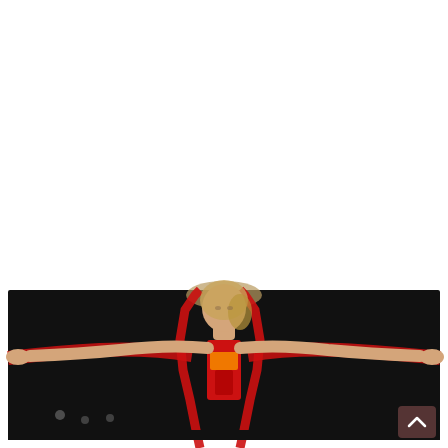[Figure (photo): A woman performing aerial silks. She is suspended by two red fabric silks hanging from above, with her arms outstretched horizontally gripping the silks, eyes closed, head tilted back. She wears a red halter top and orange accents. The background is dark/black with a decorative element visible at the top. The photo is set against a white background occupying the top portion of the page.]